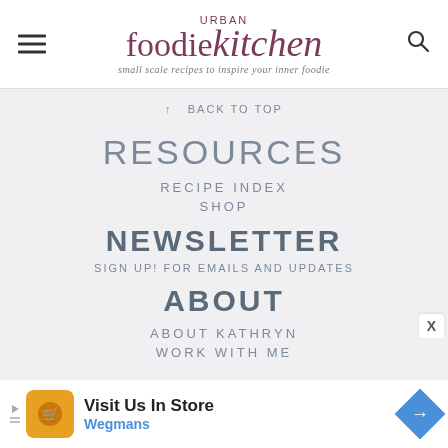URBAN foodiekitchen — small scale recipes to inspire your inner foodie
↑ BACK TO TOP
RESOURCES
RECIPE INDEX
SHOP
NEWSLETTER
SIGN UP! FOR EMAILS AND UPDATES
ABOUT
ABOUT KATHRYN
WORK WITH ME
[Figure (other): Advertisement banner: Visit Us In Store — Wegmans]